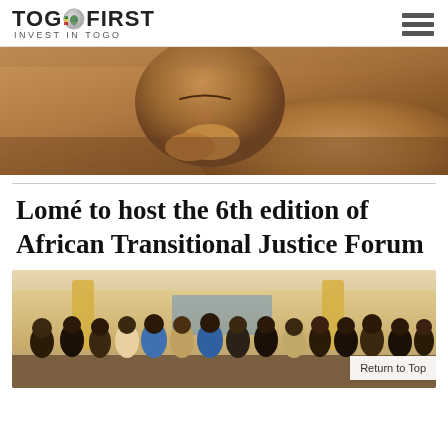TOGOFIRST INVEST IN TOGO
[Figure (photo): Close-up photo of a sleeping baby/infant lying on an adult's chest, warm brown skin tones]
Lomé to host the 6th edition of African Transitional Justice Forum
[Figure (photo): Group photo of approximately 20 people standing in front of a building with yellow columns, including men and women in formal and traditional attire]